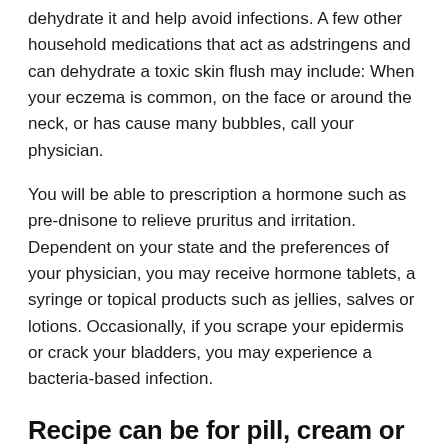dehydrate it and help avoid infections. A few other household medications that act as adstringens and can dehydrate a toxic skin flush may include: When your eczema is common, on the face or around the neck, or has cause many bubbles, call your physician.
You will be able to prescription a hormone such as pre-dnisone to relieve pruritus and irritation. Dependent on your state and the preferences of your physician, you may receive hormone tablets, a syringe or topical products such as jellies, salves or lotions. Occasionally, if you scrape your epidermis or crack your bladders, you may experience a bacteria-based infection.
Recipe can be for pill, cream or both.